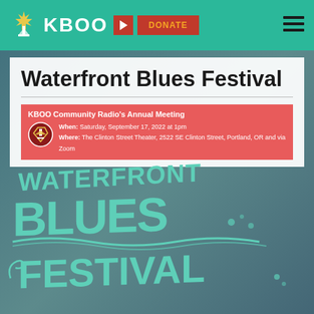KBOO | DONATE
Waterfront Blues Festival
KBOO Community Radio's Annual Meeting. When: Saturday, September 17, 2022 at 1pm. Where: The Clinton Street Theater, 2522 SE Clinton Street, Portland, OR and via Zoom
[Figure (logo): Waterfront Blues Festival stylized text logo in teal/mint color with decorative lettering]